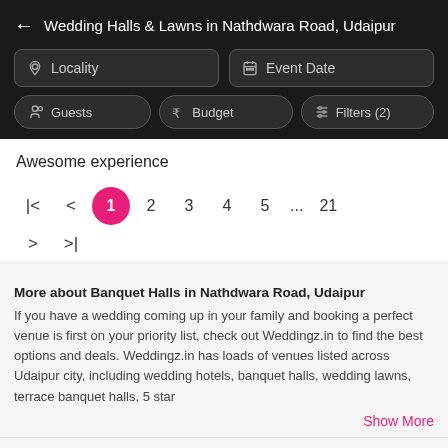Wedding Halls & Lawns in Nathdwara Road, Udaipur
Locality | Event Date | Guests | Budget | Filters (2)
Awesome experience
Pagination: |< < 1 2 3 4 5 ... 21 > >|
More about Banquet Halls in Nathdwara Road, Udaipur
If you have a wedding coming up in your family and booking a perfect venue is first on your priority list, check out Weddingz.in to find the best options and deals. Weddingz.in has loads of venues listed across Udaipur city, including wedding hotels, banquet halls, wedding lawns, terrace banquet halls, 5 star
Show More
Frequently Asked Questions about